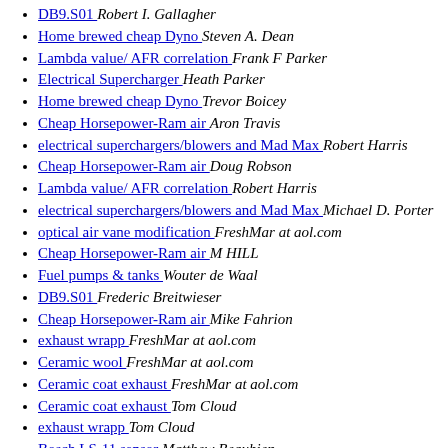DB9.S01  Robert I. Gallagher
Home brewed cheap Dyno  Steven A. Dean
Lambda value/ AFR correlation  Frank F Parker
Electrical Supercharger  Heath Parker
Home brewed cheap Dyno  Trevor Boicey
Cheap Horsepower-Ram air  Aron Travis
electrical superchargers/blowers and Mad Max  Robert Harris
Cheap Horsepower-Ram air  Doug Robson
Lambda value/ AFR correlation  Robert Harris
electrical superchargers/blowers and Mad Max  Michael D. Porter
optical air vane modification  FreshMar at aol.com
Cheap Horsepower-Ram air  M HILL
Fuel pumps & tanks  Wouter de Waal
DB9.S01  Frederic Breitwieser
Cheap Horsepower-Ram air  Mike Fahrion
exhaust wrapp  FreshMar at aol.com
Ceramic wool  FreshMar at aol.com
Ceramic coat exhaust  FreshMar at aol.com
Ceramic coat exhaust  Tom Cloud
exhaust wrapp  Tom Cloud
Bosch LS-11 sensor  Matthew Beaubien
intake tuning  Todd King
exhaust wrapp  Frederic Breitwieser